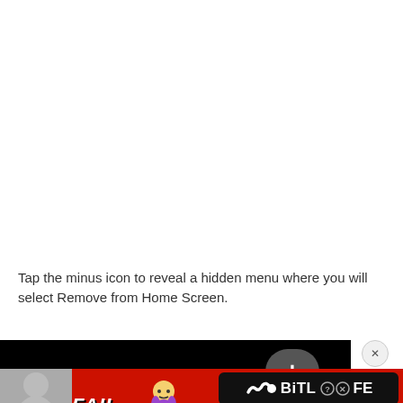Tap the minus icon to reveal a hidden menu where you will select Remove from Home Screen.
[Figure (screenshot): Screenshot of a dark interface showing a plus (+) button, partially visible, with a circular close (×) button to the right. An advertisement banner for BitLife game is overlaid at the bottom showing fire, a cartoon character, the BitLife logo, and 'START A NEW LIFE' text.]